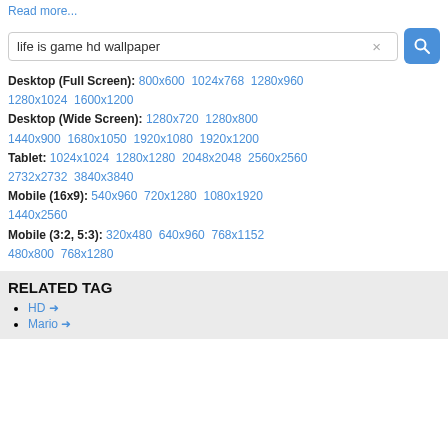Read more...
life is game hd wallpaper
Desktop (Full Screen): 800x600  1024x768  1280x960  1280x1024  1600x1200
Desktop (Wide Screen): 1280x720  1280x800  1440x900  1680x1050  1920x1080  1920x1200
Tablet: 1024x1024  1280x1280  2048x2048  2560x2560  2732x2732  3840x3840
Mobile (16x9): 540x960  720x1280  1080x1920  1440x2560
Mobile (3:2, 5:3): 320x480  640x960  768x1152  480x800  768x1280
RELATED TAG
HD →
Mario →